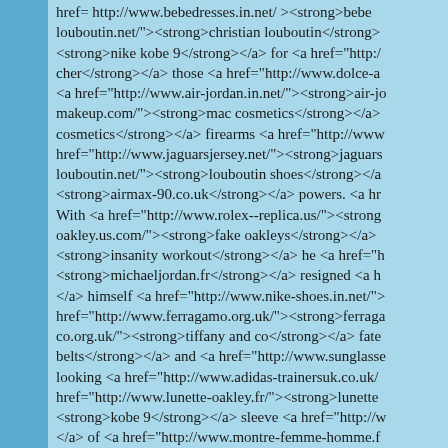href= http://www.bebedresses.in.net/ ><strong>bebe louboutin.net/"><strong>christian louboutin</strong> <strong>nike kobe 9</strong></a> for <a href="http:/ cher</strong></a> those <a href="http://www.dolce-a <a href="http://www.air-jordan.in.net/"><strong>air-j makeup.com/"><strong>mac cosmetics</strong></a> cosmetics</strong></a> firearms <a href="http://www href="http://www.jaguarsjersey.net/"><strong>jaguars louboutin.net/"><strong>louboutin shoes</strong></a <strong>airmax-90.co.uk</strong></a> powers. <a hr With <a href="http://www.rolex--replica.us/"><strong oakley.us.com/"><strong>fake oakleys</strong></a> <strong>insanity workout</strong></a> he <a href="h <strong>michaeljordan.fr</strong></a> resigned <a h </a> himself <a href="http://www.nike-shoes.in.net/"> href="http://www.ferragamo.org.uk/"><strong>ferraga co.org.uk/"><strong>tiffany and co</strong></a> fate belts</strong></a> and <a href="http://www.sunglasse looking <a href="http://www.adidas-trainersuk.co.uk/ href="http://www.lunette-oakley.fr/"><strong>lunette <strong>kobe 9</strong></a> sleeve <a href="http://w </a> of <a href="http://www.montre-femme-homme.f href="http://www.mizunorunning-shoes.com/"><stron href="http://www.weddingdresses.me.uk/"><strong>w href="http://www.adidasoutlet.net/"><strong>adidas s href="http://www.abercrombie.ar.com/"><strong>aber gabbana.org/"><strong>dolce-and-gabbana.org</stro